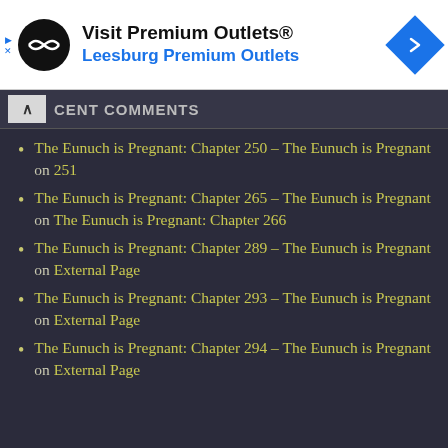[Figure (infographic): Advertisement banner for Premium Outlets showing logo, text 'Visit Premium Outlets® Leesburg Premium Outlets', and a blue navigation diamond icon]
RECENT COMMENTS
The Eunuch is Pregnant: Chapter 250 – The Eunuch is Pregnant on 251
The Eunuch is Pregnant: Chapter 265 – The Eunuch is Pregnant on The Eunuch is Pregnant: Chapter 266
The Eunuch is Pregnant: Chapter 289 – The Eunuch is Pregnant on External Page
The Eunuch is Pregnant: Chapter 293 – The Eunuch is Pregnant on External Page
The Eunuch is Pregnant: Chapter 294 – The Eunuch is Pregnant on External Page